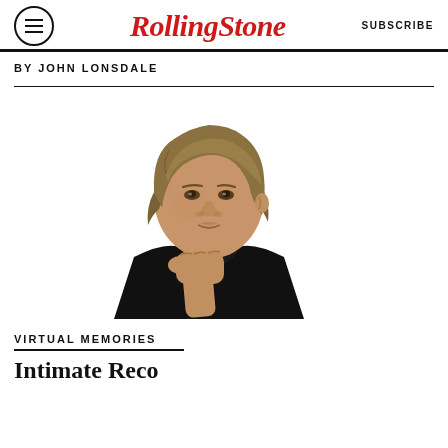Rolling Stone | SUBSCRIBE
BY JOHN LONSDALE
[Figure (photo): Portrait photo of a young man with medium-length brown hair, wearing a black blazer, resting his chin on his hand against a white background]
VIRTUAL MEMORIES
Intimate Reco...